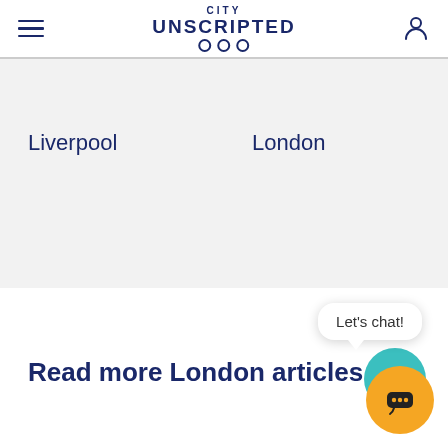City Unscripted
Liverpool
London
Read more London articles
Let's chat!